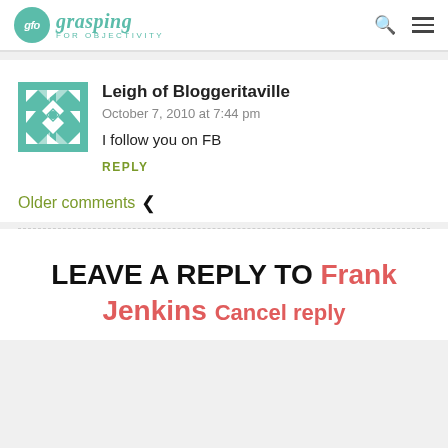glo grasping FOR OBJECTIVITY
Leigh of Bloggeritaville
October 7, 2010 at 7:44 pm
I follow you on FB
REPLY
Older comments <
LEAVE A REPLY TO Frank Jenkins Cancel reply